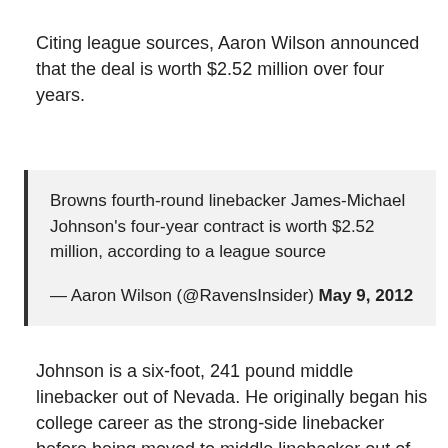Citing league sources, Aaron Wilson announced that the deal is worth $2.52 million over four years.
Browns fourth-round linebacker James-Michael Johnson's four-year contract is worth $2.52 million, according to a league source

— Aaron Wilson (@RavensInsider) May 9, 2012
Johnson is a six-foot, 241 pound middle linebacker out of Nevada. He originally began his college career as the strong-side linebacker before being moved to middle linebacker out of necessity prior to the start of his junior year. He started 50 games (23 on the